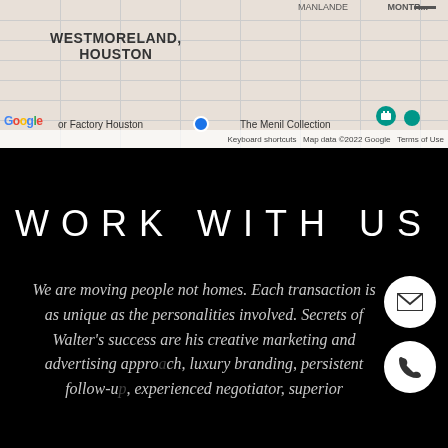[Figure (screenshot): Google Maps screenshot showing Westmoreland, Houston area with Google logo, map attribution, and business labels including 'or Factory Houston' and 'The Menil Collection']
WORK WITH US
We are moving people not homes. Each transaction is as unique as the personalities involved. Secrets of Walter’s success are his creative marketing and advertising approach, luxury branding, persistent follow-up, experienced negotiator, superior